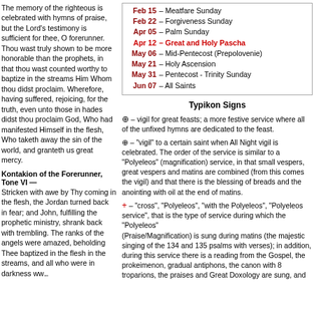The memory of the righteous is celebrated with hymns of praise, but the Lord's testimony is sufficient for thee, O forerunner. Thou wast truly shown to be more honorable than the prophets, in that thou wast counted worthy to baptize in the streams Him Whom thou didst proclaim. Wherefore, having suffered, rejoicing, for the truth, even unto those in hades didst thou proclaim God, Who had manifested Himself in the flesh, Who taketh away the sin of the world, and granteth us great mercy.
Kontakion of the Forerunner, Tone VI —
Stricken with awe by Thy coming in the flesh, the Jordan turned back in fear; and John, fulfilling the prophetic ministry, shrank back with trembling. The ranks of the angels were amazed, beholding Thee baptized in the flesh in the streams, and all who were in darkness ww...
Feb 15 – Meatfare Sunday
Feb 22 – Forgiveness Sunday
Apr 05 – Palm Sunday
Apr 12 – Great and Holy Pascha
May 06 – Mid-Pentecost (Prepolovenie)
May 21 – Holy Ascension
May 31 – Pentecost - Trinity Sunday
Jun 07 – All Saints
Typikon Signs
⊕ – vigil for great feasts; a more festive service where all of the unfixed hymns are dedicated to the feast.
⊕ – "vigil" to a certain saint when All Night vigil is celebrated. The order of the service is similar to a "Polyeleos" (magnification) service, in that small vespers, great vespers and matins are combined (from this comes the vigil) and that there is the blessing of breads and the anointing with oil at the end of matins.
+ – "cross", "Polyeleos", "with the Polyeleos", "Polyeleos service", that is the type of service during which the "Polyeleos" (Praise/Magnification) is sung during matins (the majestic singing of the 134 and 135 psalms with verses); in addition, during this service there is a reading from the Gospel, the prokeimenon, gradual antiphons, the canon with 8 troparions, the praises and Great Doxology are sung, and